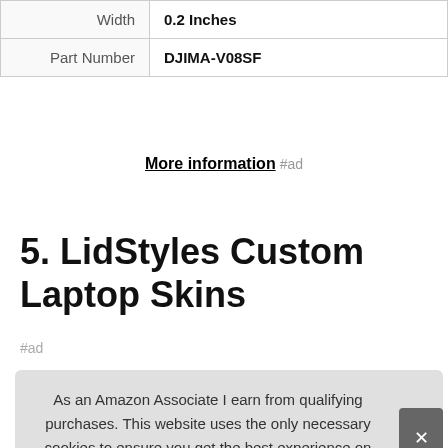| Width | 0.2 Inches |
| Part Number | DJIMA-V08SF |
More information #ad
5. LidStyles Custom Laptop Skins
#ad
As an Amazon Associate I earn from qualifying purchases. This website uses the only necessary cookies to ensure you get the best experience on our website. More information